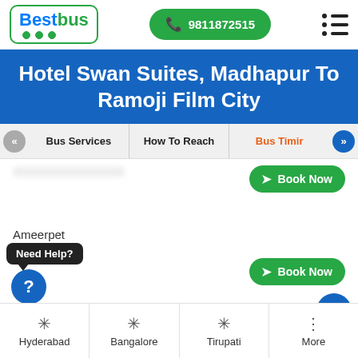BestBus — 9811872515
Hotel Swan Suites, Madhapur To Ramoji Film City
Bus Services | How To Reach | Bus Timir
Book Now
Ameerpet
Book Now
Need Help?
atny
Hyderabad | Bangalore | Tirupati | More